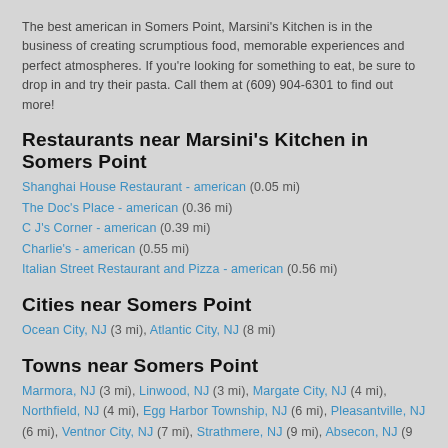The best american in Somers Point, Marsini's Kitchen is in the business of creating scrumptious food, memorable experiences and perfect atmospheres. If you're looking for something to eat, be sure to drop in and try their pasta. Call them at (609) 904-6301 to find out more!
Restaurants near Marsini's Kitchen in Somers Point
Shanghai House Restaurant - american (0.05 mi)
The Doc's Place - american (0.36 mi)
C J's Corner - american (0.39 mi)
Charlie's - american (0.55 mi)
Italian Street Restaurant and Pizza - american (0.56 mi)
Cities near Somers Point
Ocean City, NJ (3 mi), Atlantic City, NJ (8 mi)
Towns near Somers Point
Marmora, NJ (3 mi), Linwood, NJ (3 mi), Margate City, NJ (4 mi), Northfield, NJ (4 mi), Egg Harbor Township, NJ (6 mi), Pleasantville, NJ (6 mi), Ventnor City, NJ (7 mi), Strathmere, NJ (9 mi), Absecon, NJ (9 mi), Mays Landing, NJ (10 mi), Ocean View, NJ (10 mi), Galloway, NJ (11 mi)